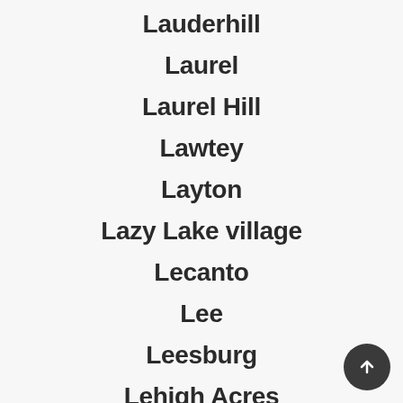Lauderhill
Laurel
Laurel Hill
Lawtey
Layton
Lazy Lake village
Lecanto
Lee
Leesburg
Lehigh Acres
Leisure City